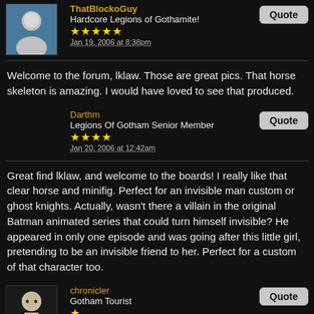ThatBlockoGuy
Hardcore Legions of Gothamite!
★★★★★
Jan 19, 2006 at 8:38pm
Welcome to the forum, lklaw. Those are great pics. That horse skeleton is amazing. I would have loved to see that produced.
Darthm
Legions Of Gotham Senior Member
★★★★
Jan 20, 2006 at 12:42am
Great find lklaw, and welcome to the boards! I really like that clear horse and minifig. Perfect for an invisible man custom or ghost knights. Actually, wasn't there a villain in the original Batman animated series that could turn himself invisible? He appeared in only one episode and was going after this little girl, pretending to be an invisible friend to her. Perfect for a custom of that character too.
chronicler
Gotham Tourist
★
Jan 20, 2006 at 1:39am
I have a few questions for bonven